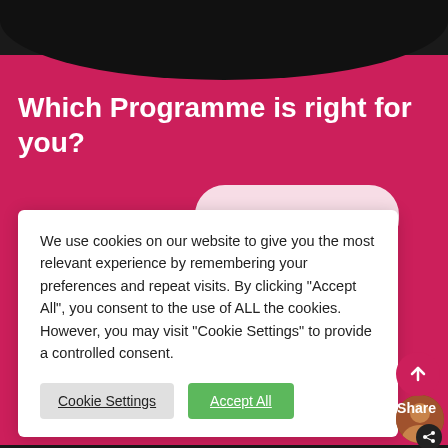Which Programme is right for you?
We use cookies on our website to give you the most relevant experience by remembering your preferences and repeat visits. By clicking "Accept All", you consent to the use of ALL the cookies. However, you may visit "Cookie Settings" to provide a controlled consent.
Cookie Settings
Accept All
mni have to e information?